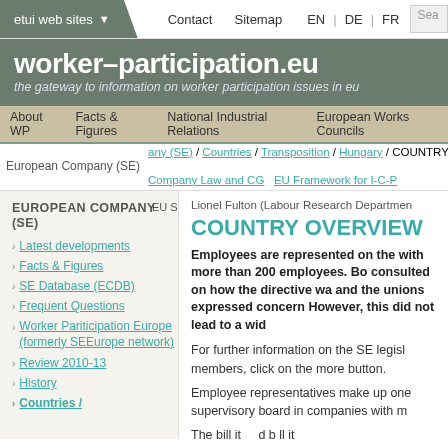etui web sites ▼   Contact   Sitemap   EN | DE | FR   Sea
worker-participation.eu
the gateway to information on worker participation issues in eu
About WP   Facts & Figures   National Industrial Relations   European Works Councils
European Company (SE)  any (SE) / Countries / Transposition / Hungary / COUNTRY O  Company Law and CG  EU Framework for I-C-P
EUROPEAN COMPANY (SE)
Latest developments
Facts & Figures
SE Database (ECDB)
Frequent Questions
Worker Pariticipation Europe (formerly SEEurope network)
Review 2010-13
History
Countries /
EU Social |
Lionel Fulton (Labour Research Departmen
COUNTRY OVERVIEW
Employees are represented on the with more than 200 employees. Bo consulted on how the directive wa and the unions expressed concern However, this did not lead to a wid
For further information on the SE legisl members, click on the more button.
Employee representatives make up one supervisory board in companies with m
The bill it     d b ll it